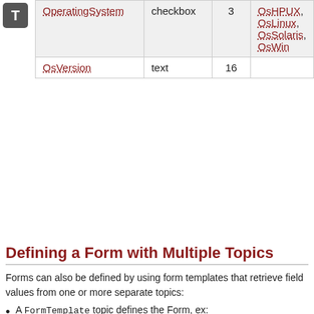| Name | Type | Size | Values |
| --- | --- | --- | --- |
| OperatingSystem | checkbox | 3 | OsHPUX, OsLinux, OsSolaris, OsWin |
| OsVersion | text | 16 |  |
Defining a Form with Multiple Topics
Forms can also be defined by using form templates that retrieve field values from one or more separate topics:
A FormTemplate topic defines the Form, ex: YourFormTemplate.
For each field that has a value list - select, radio, checkbox - can use separate topic to define the available values.
Example: WebFormTemplate
Know.WebFormTemplate main